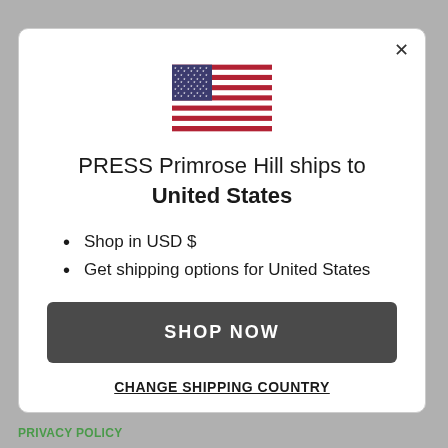[Figure (illustration): US flag icon centered in modal dialog]
PRESS Primrose Hill ships to United States
Shop in USD $
Get shipping options for United States
SHOP NOW
CHANGE SHIPPING COUNTRY
PRIVACY POLICY